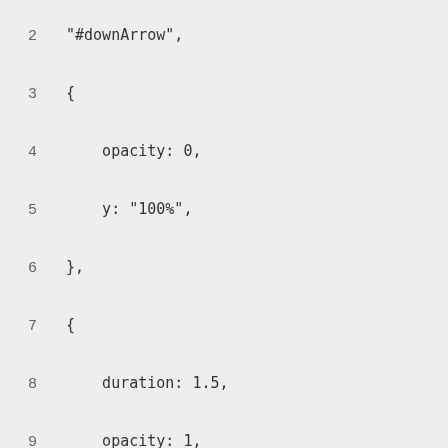2    "#downArrow",
3    {
4        opacity: 0,
5        y: "100%",
6    },
7    {
8        duration: 1.5,
9        opacity: 1,
10       y: